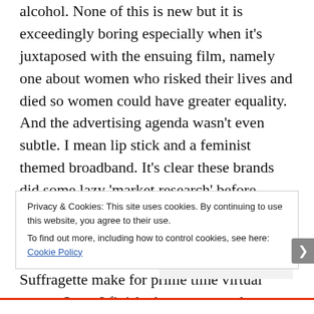alcohol. None of this is new but it is exceedingly boring especially when it's juxtaposed with the ensuing film, namely one about women who risked their lives and died so women could have greater equality. And the advertising agenda wasn't even subtle. I mean lip stick and a feminist themed broadband. It's clear these brands did some lazy 'market research' before crassly targeting their presumed captive audience with the 'appropriate' products. But the minutes before a film like Suffragette make for prime time virtual estate. So as I finished my popcorn long before the film started I couldn't help but feel that despite all the amazing gains that have been
Privacy & Cookies: This site uses cookies. By continuing to use this website, you agree to their use.
To find out more, including how to control cookies, see here: Cookie Policy
Close and accept